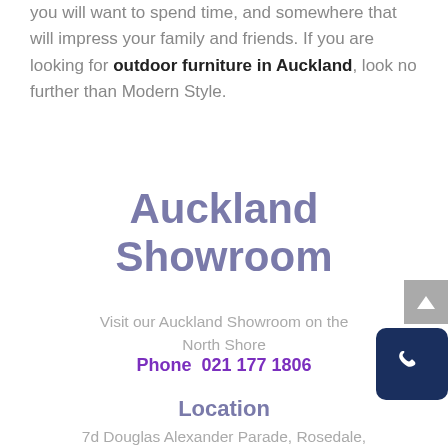you will want to spend time, and somewhere that will impress your family and friends. If you are looking for outdoor furniture in Auckland, look no further than Modern Style.
Auckland Showroom
Visit our Auckland Showroom on the North Shore
Phone  021 177 1806
Location
7d Douglas Alexander Parade, Rosedale,